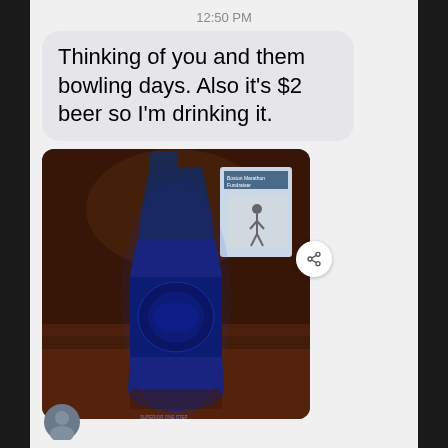12:50 PM
Thinking of you and them bowling days. Also it's $2 beer so I'm drinking it.
[Figure (photo): A Bud Light beer bottle sitting on a wooden bar counter in dim lighting. The bottle has a blue label with 'BUD LIGHT' printed in bold orange/gold letters. A Boston Marathon Fundraiser poster is visible in the background on the right.]